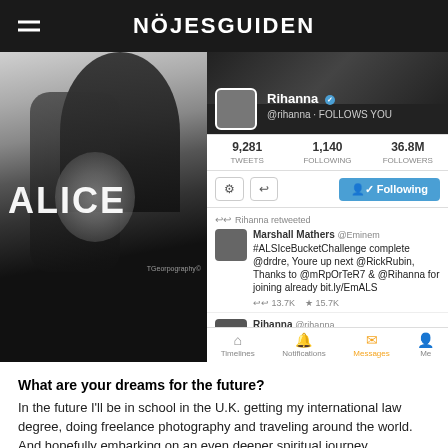NÖJESGUIDEN
[Figure (photo): Black and white photo on left showing a person with long dark hair wearing a shirt with 'ALICE' text, with a face graphic on the shirt. Photographer watermark 'TGeorpography' visible. Right side shows a Twitter/social media screenshot of Rihanna's profile page with stats (9,281 tweets, 1,140 following, 36.8M followers), a 'Following' button, a retweeted post by Marshall Mathers @Eminem about #ALSIceBucketChallenge, and a Rihanna tweet 'She thinks my arm is a hammock'. Bottom navigation bar with Timeline, Notifications, Messages, Me icons.]
What are your dreams for the future?
In the future I'll be in school in the U.K. getting my international law degree, doing freelance photography and traveling around the world. And hopefully embarking on an even deeper spiritual journey.